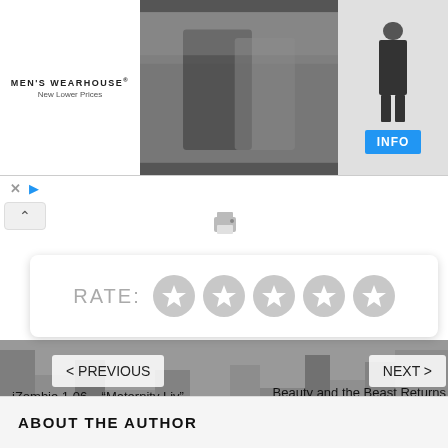[Figure (screenshot): Men's Wearhouse advertisement banner with couple in formal wear on left and man in tuxedo on right with INFO button]
[Figure (screenshot): Rate widget with RATE: label followed by five gray star circles]
[Figure (screenshot): Dark cityscape background navigation area with PREVIOUS and NEXT buttons]
iZombie 1.06 – “Maternity Liv”
Beauty and the Beast Returns June 11th
ABOUT THE AUTHOR